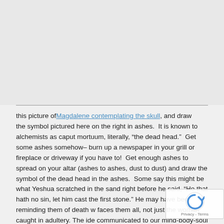[Figure (photo): Large image area at the top of the page, likely showing Magdalene contemplating the skull and an alchemical caput mortuum symbol]
this picture of Magdalene contemplating the skull, and draw the symbol pictured here on the right in ashes.  It is known to alchemists as caput mortuum, literally, “the dead head.”  Get some ashes somehow– burn up a newspaper in your grill or fireplace or driveway if you have to!  Get enough ashes to spread on your altar (ashes to ashes, dust to dust) and draw the symbol of the dead head in the ashes.  Some say this might be what Yeshua scratched in the sand right before he said, “He that hath no sin, let him cast the first stone.” He may have been reminding them of death w… faces them all, not just the woman caught in adultery. The ide… communicated to our mind-body-soul when using the skull sy… “we’re all food for worms,” so brilliantly expressed by Robin Williams in the movie Dead Poets Society